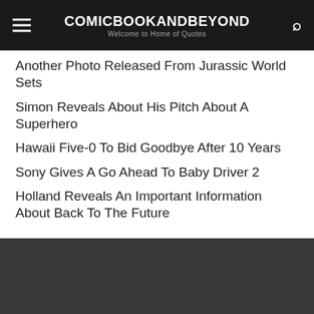COMICBOOKANDBEYOND — Welcome to Home of Quotes
Another Photo Released From Jurassic World Sets
Simon Reveals About His Pitch About A Superhero
Hawaii Five-0 To Bid Goodbye After 10 Years
Sony Gives A Go Ahead To Baby Driver 2
Holland Reveals An Important Information About Back To The Future